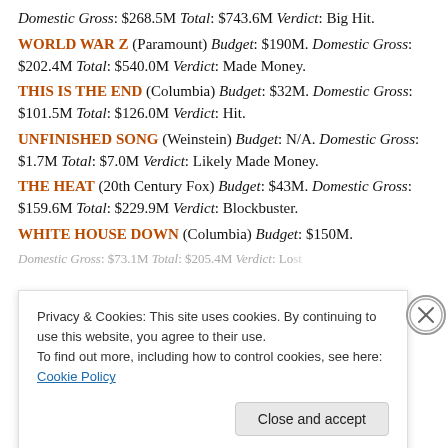Domestic Gross: $268.5M Total: $743.6M Verdict: Big Hit.
WORLD WAR Z (Paramount) Budget: $190M. Domestic Gross: $202.4M Total: $540.0M Verdict: Made Money.
THIS IS THE END (Columbia) Budget: $32M. Domestic Gross: $101.5M Total: $126.0M Verdict: Hit.
UNFINISHED SONG (Weinstein) Budget: N/A. Domestic Gross: $1.7M Total: $7.0M Verdict: Likely Made Money.
THE HEAT (20th Century Fox) Budget: $43M. Domestic Gross: $159.6M Total: $229.9M Verdict: Blockbuster.
WHITE HOUSE DOWN (Columbia) Budget: $150M. Domestic Gross: $73.1M Total: $205.4M Verdict: Lost
Privacy & Cookies: This site uses cookies. By continuing to use this website, you agree to their use. To find out more, including how to control cookies, see here: Cookie Policy